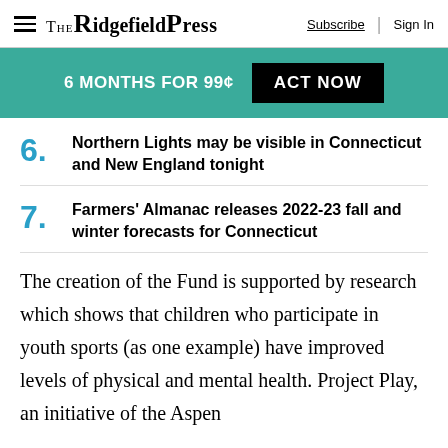The Ridgefield Press | Subscribe | Sign In
6 MONTHS FOR 99¢  ACT NOW
6. Northern Lights may be visible in Connecticut and New England tonight
7. Farmers' Almanac releases 2022-23 fall and winter forecasts for Connecticut
The creation of the Fund is supported by research which shows that children who participate in youth sports (as one example) have improved levels of physical and mental health. Project Play, an initiative of the Aspen